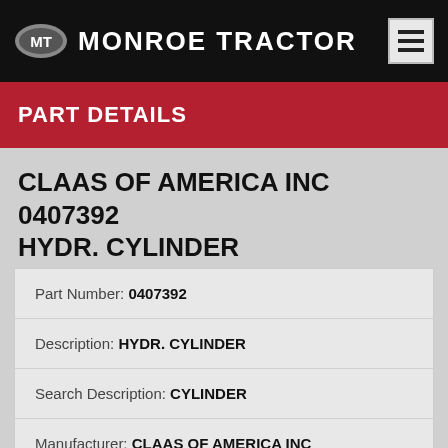MONROE TRACTOR
PART DETAILS
CLAAS OF AMERICA INC 0407392 HYDR. CYLINDER
| Part Number: | 0407392 |
| Description: | HYDR. CYLINDER |
| Search Description: | CYLINDER |
| Manufacturer: | CLAAS OF AMERICA INC |